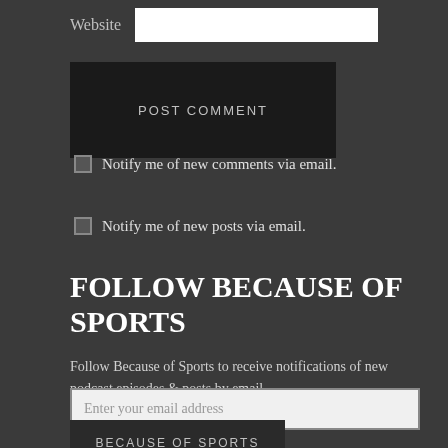Website
POST COMMENT
Notify me of new comments via email.
Notify me of new posts via email.
FOLLOW BECAUSE OF SPORTS
Follow Because of Sports to receive notifications of new podcast episodes & posts by email.
Enter your email address
BECAUSE OF SPORTS